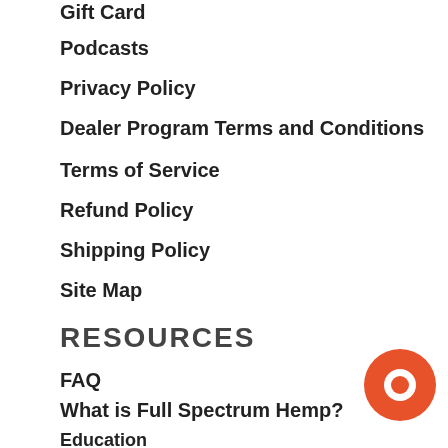Gift Card
Podcasts
Privacy Policy
Dealer Program Terms and Conditions
Terms of Service
Refund Policy
Shipping Policy
Site Map
RESOURCES
FAQ
What is Full Spectrum Hemp?
Education
BodyChek Podcasts
[Figure (illustration): Orange circular chat bubble icon in bottom right corner]